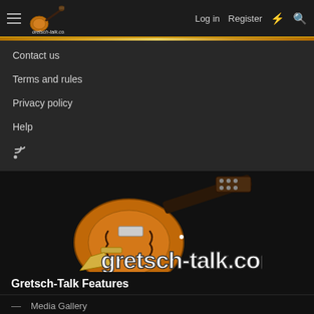gretsch-talk.com | Log in | Register
Contact us
Terms and rules
Privacy policy
Help
[Figure (logo): Gretsch-Talk orange hollowbody guitar logo with text gretsch-talk.com]
Gretsch-Talk Features
— Media Gallery
— Classifieds Forums